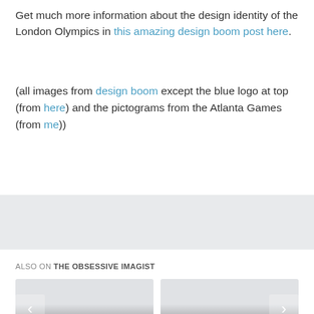Get much more information about the design identity of the London Olympics in this amazing design boom post here.
(all images from design boom except the blue logo at top (from here) and the pictograms from the Atlanta Games (from me))
[Figure (other): Gray advertisement banner area]
ALSO ON THE OBSESSIVE IMAGIST
[Figure (other): Card with left arrow navigation, showing '7 years ago • 1 comment']
[Figure (other): Card with right arrow navigation, showing '7 years ago • 1 comment' and title 'art, design, life:']